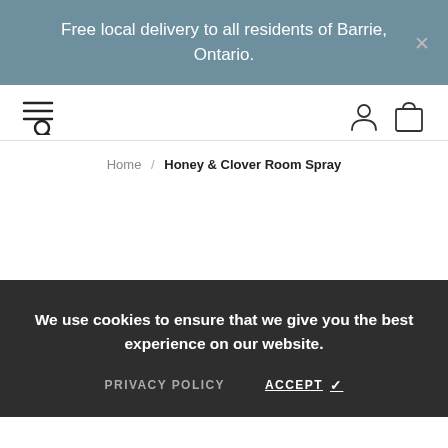Free local delivery to all residents of Barrie, Ontario.
[Figure (other): Navigation bar with hamburger/search icon on left, and user account and shopping bag icons on right]
Home / Honey & Clover Room Spray
We use cookies to ensure that we give you the best experience on our website.
PRIVACY POLICY   ACCEPT ✓